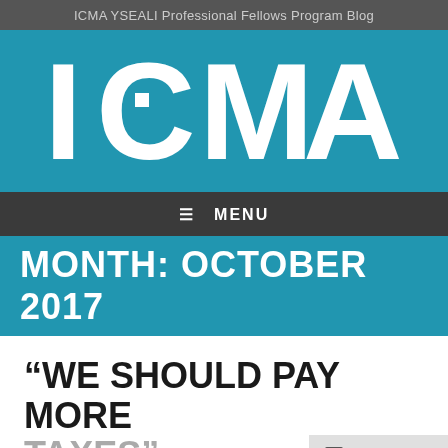ICMA YSEALI Professional Fellows Program Blog
[Figure (logo): ICMA logo in white text on blue background]
≡ MENU
MONTH: OCTOBER 2017
“WE SHOULD PAY MORE
TAXES”
Follow